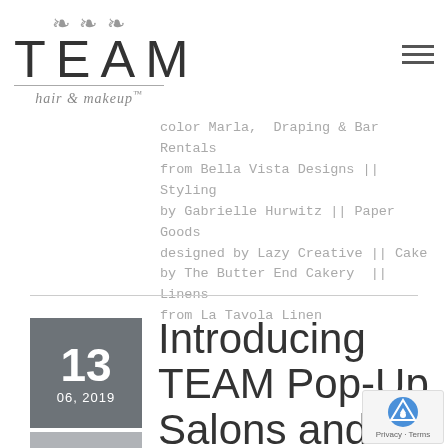[Figure (logo): TEAM hair & makeup logo with ornamental flourish above the word TEAM and a script subtitle 'hair & makeup™']
color Marla, Draping & Bar Rentals from Bella Vista Designs || Styling by Gabrielle Hurwitz || Paper Goods designed by Lazy Creative || Cake by The Butter End Cakery || Linens from La Tavola Linen
Introducing TEAM Pop-Up Salons and
13 06, 2019